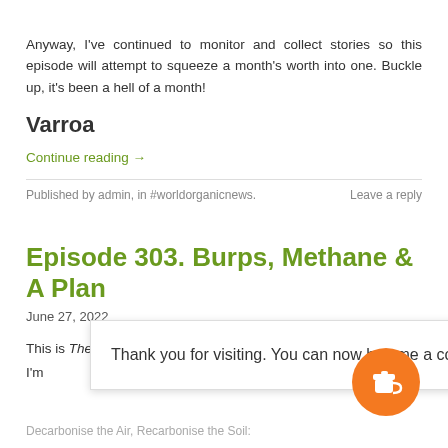Anyway, I've continued to monitor and collect stories so this episode will attempt to squeeze a month's worth into one. Buckle up, it's been a hell of a month!
Varroa
Continue reading →
Published by admin, in #worldorganicnews.
Leave a reply
Episode 303. Burps, Methane & A Plan
June 27, 2022
This is The ChangeUnderground for the 27th of Ju
I'm
Thank you for visiting. You can now buy me a coffee!
Decarbonise the Air, Recarbonise the Soil: